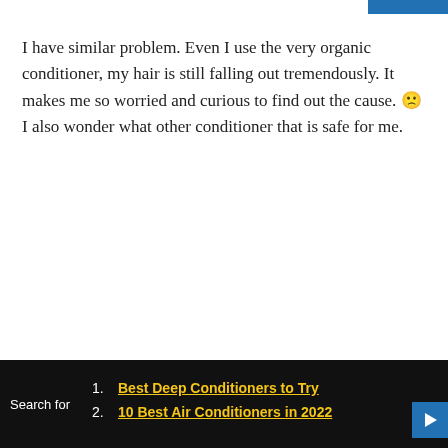I have similar problem. Even I use the very organic conditioner, my hair is still falling out tremendously. It makes me so worried and curious to find out the cause. 🙁 I also wonder what other conditioner that is safe for me.
∞
Rogelio
August 30, 2016, 11:12 am
I think that you see more falling while using conditioner because it makes your hair more soft, I mean it coats it with silicone, so there's less friction
Search for
1. Best Deep Conditioners to Try
2. 10 Best Air Conditioners in 2022